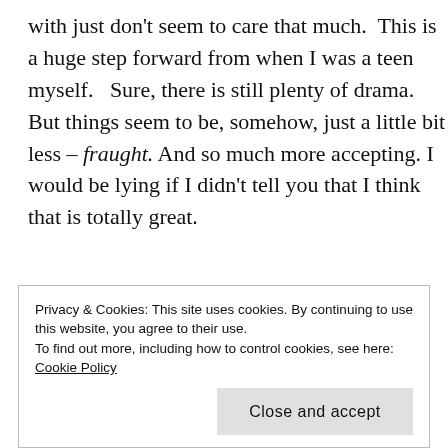with just don't seem to care that much.  This is a huge step forward from when I was a teen myself.   Sure, there is still plenty of drama.  But things seem to be, somehow, just a little bit less – fraught. And so much more accepting. I would be lying if I didn't tell you that I think that is totally great.
[Figure (infographic): Partially visible advertisement banner text reading 'The Platform Where WordPress Works Best' with a partially visible blue 'GET PRICING' button below]
Privacy & Cookies: This site uses cookies. By continuing to use this website, you agree to their use.
To find out more, including how to control cookies, see here: Cookie Policy
Close and accept